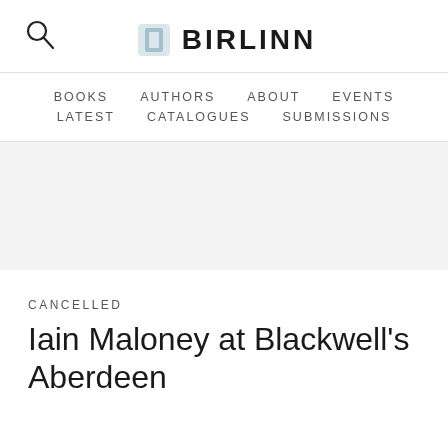[Figure (logo): Birlinn publisher logo with stylized book icon and the text BIRLINN]
BOOKS   AUTHORS   ABOUT   EVENTS   LATEST   CATALOGUES   SUBMISSIONS
[Figure (photo): Grey/light banner image area (hero image placeholder)]
CANCELLED
Iain Maloney at Blackwell's Aberdeen